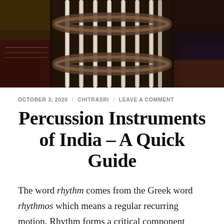[Figure (photo): Close-up photo of Indian percussion drum showing lacing/rope tensioning system with white cords and dark drum body, on colorful textile background]
OCTOBER 3, 2020 / CHITRASRI / LEAVE A COMMENT
Percussion Instruments of India – A Quick Guide
The word rhythm comes from the Greek word rhythmos which means a regular recurring motion. Rhythm forms a critical component